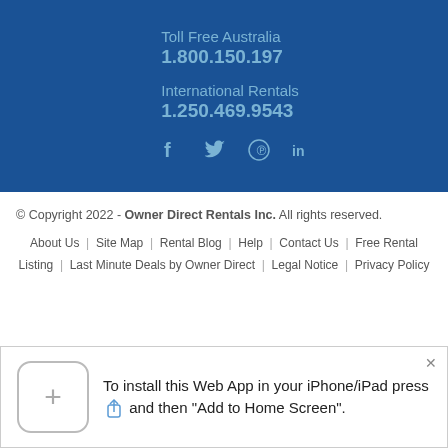Toll Free Australia
1.800.150.197
International Rentals
1.250.469.9543
[Figure (infographic): Social media icons: Facebook, Twitter, Pinterest, LinkedIn]
© Copyright 2022 - Owner Direct Rentals Inc. All rights reserved.
About Us | Site Map | Rental Blog | Help | Contact Us | Free Rental Listing | Last Minute Deals by Owner Direct | Legal Notice | Privacy Policy
To install this Web App in your iPhone/iPad press [share icon] and then "Add to Home Screen".